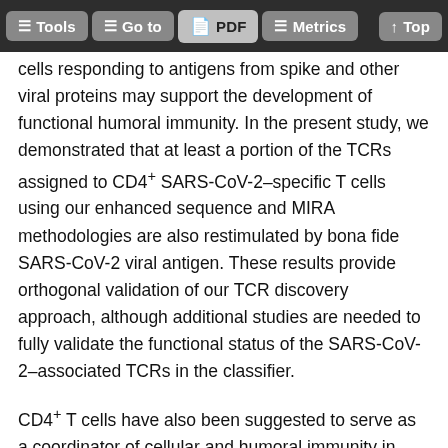Tools  Go to  PDF  Metrics  Top
cells responding to antigens from spike and other viral proteins may support the development of functional humoral immunity. In the present study, we demonstrated that at least a portion of the TCRs assigned to CD4+ SARS-CoV-2–specific T cells using our enhanced sequence and MIRA methodologies are also restimulated by bona fide SARS-CoV-2 viral antigen. These results provide orthogonal validation of our TCR discovery approach, although additional studies are needed to fully validate the functional status of the SARS-CoV-2–associated TCRs in the classifier.
CD4+ T cells have also been suggested to serve as a coordinator of cellular and humoral immunity in vaccinated individuals, as levels of CD4+ T cells after